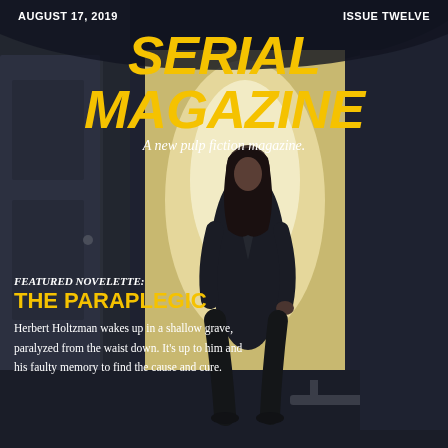AUGUST 17, 2019    ISSUE TWELVE
SERIAL MAGAZINE
A new pulp fiction magazine.
[Figure (illustration): A woman in a black trench coat walking through a doorway with bright light behind her, set in a dark corridor interior. Noir/thriller style digital illustration.]
FEATURED NOVELETTE: THE PARAPLEGIC
Herbert Holtzman wakes up in a shallow grave, paralyzed from the waist down. It's up to him and his faulty memory to find the cause and cure.